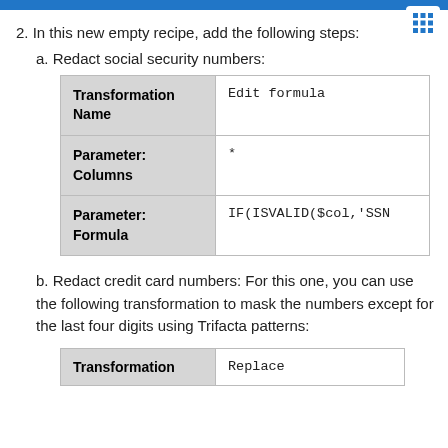2. In this new empty recipe, add the following steps:
a. Redact social security numbers:
|  |  |
| --- | --- |
| Transformation Name | Edit formula |
| Parameter: Columns | * |
| Parameter: Formula | IF(ISVALID($col,'SSN |
b. Redact credit card numbers: For this one, you can use the following transformation to mask the numbers except for the last four digits using Trifacta patterns:
|  |  |
| --- | --- |
| Transformation | Replace |